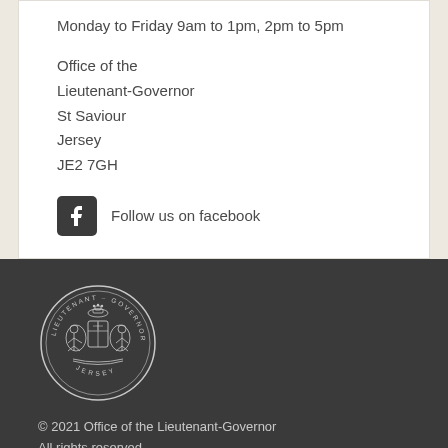Monday to Friday 9am to 1pm, 2pm to 5pm
Office of the
Lieutenant-Governor
St Saviour
Jersey
JE2 7GH
Follow us on facebook
[Figure (logo): Lieutenant-Governor Jersey circular seal/logo in white on dark background]
© 2021 Office of the Lieutenant-Governor
All rights reserved
Sitemap